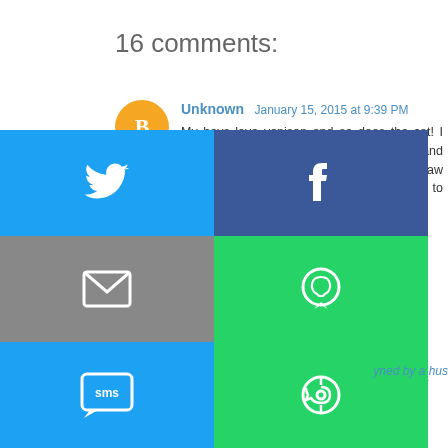16 comments:
Unknown January 15, 2015 at 9:39 PM
My boys love venison and so does the cat! I had some misinformed North American and European venison made it unsafe for raw feeding safely feeding a very healthy animal to our pets!
Reply
Unknown January 16, 2015 at 4:16 AM
That was interesting and informative. Have a fabulous Friday. Best wishes Molly
[Figure (infographic): Social share buttons grid: Twitter (blue), Facebook (dark blue), Email (gray), WhatsApp (green), SMS (blue), other (green). Partially visible 'owned by a hus' text in italic blue.]